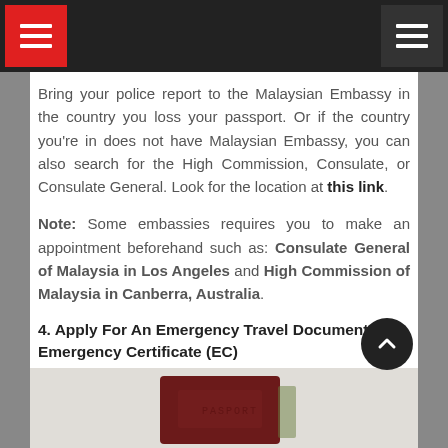Navigation bar with hamburger menus
Bring your police report to the Malaysian Embassy in the country you loss your passport. Or if the country you're in does not have Malaysian Embassy, you can also search for the High Commission, Consulate, or Consulate General. Look for the location at this link.
Note: Some embassies requires you to make an appointment beforehand such as: Consulate General of Malaysia in Los Angeles and High Commission of Malaysia in Canberra, Australia.
4. Apply For An Emergency Travel Document or Emergency Certificate (EC)
[Figure (photo): Photo of a dark red/maroon Malaysian passport or travel document on a white surface]